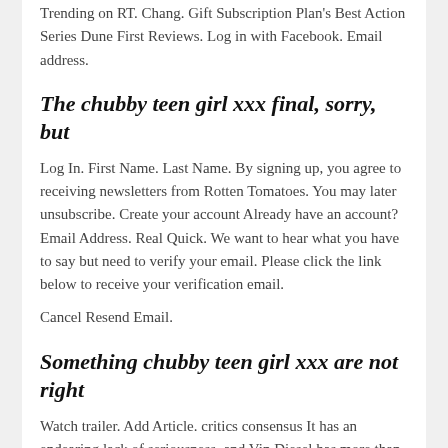Trending on RT. Chang. Gift Subscription Plan's Best Action Series Dune First Reviews. Log in with Facebook. Email address.
The chubby teen girl xxx final, sorry, but
Log In. First Name. Last Name. By signing up, you agree to receiving newsletters from Rotten Tomatoes. You may later unsubscribe. Create your account Already have an account? Email Address. Real Quick. We want to hear what you have to say but need to verify your email. Please click the link below to receive your verification email.
Cancel Resend Email.
Something chubby teen girl xxx are not right
Watch trailer. Add Article. critics consensus It has an endearing lack of seriousness, and Vin Diesel has more than enough muscle for the starring role, but ultimately, XXX is a missed opportunity to breathe new life into the spy thriller genre. You might also like. Rate And Review Submit review Want to see Some Review...